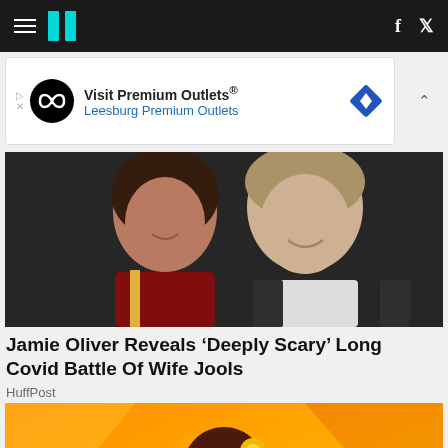HuffPost navigation with hamburger menu, logo, Facebook and Twitter icons
[Figure (screenshot): Advertisement banner for Visit Premium Outlets® - Leesburg Premium Outlets with infinity logo and diamond navigation icon]
[Figure (photo): Photo of a woman and man smiling together, woman in red outfit with curly hair, man in dark suit with white shirt]
Jamie Oliver Reveals 'Deeply Scary' Long Covid Battle Of Wife Jools
HuffPost
[Figure (illustration): Illustrated animated-style character: a woman with long braided hair, orange/yellow flower in hair, pink hoop earrings, on orange gradient background]